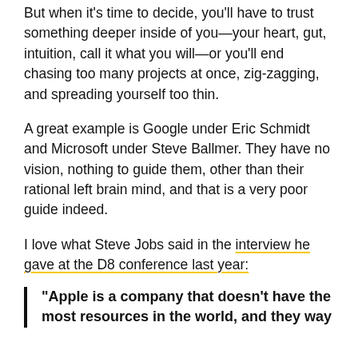But when it's time to decide, you'll have to trust something deeper inside of you—your heart, gut, intuition, call it what you will—or you'll end chasing too many projects at once, zig-zagging, and spreading yourself too thin.
A great example is Google under Eric Schmidt and Microsoft under Steve Ballmer. They have no vision, nothing to guide them, other than their rational left brain mind, and that is a very poor guide indeed.
I love what Steve Jobs said in the interview he gave at the D8 conference last year:
“Apple is a company that doesn’t have the most resources in the world, and they way